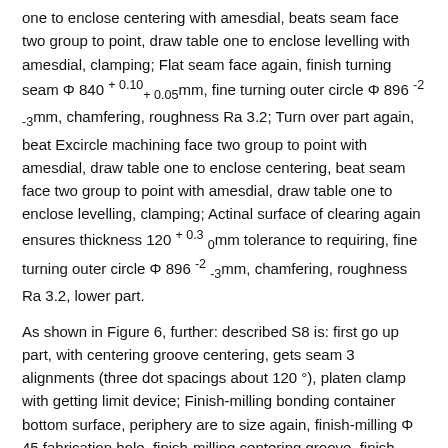one to enclose centering with amesdial, beats seam face two group to point, draw table one to enclose levelling with amesdial, clamping; Flat seam face again, finish turning seam Φ 840 +0.10 +0.05 mm, fine turning outer circle Φ 896 -2 -3 mm, chamfering, roughness Ra 3.2; Turn over part again, beat Excircle machining face two group to point with amesdial, draw table one to enclose centering, beat seam face two group to point with amesdial, draw table one to enclose levelling, clamping; Actinal surface of clearing again ensures thickness 120 +0.3 0 mm tolerance to requiring, fine turning outer circle Φ 896 -2 -3 mm, chamfering, roughness Ra 3.2, lower part.
As shown in Figure 6, further: described S8 is: first go up part, with centering groove centering, gets seam 3 alignments (three dot spacings about 120 °), platen clamp with getting limit device; Finish-milling bonding container bottom surface, periphery are to size again, finish-milling Φ 45 fabrication hole, finish-milling centering groove, finish-milling dowel hole 2-Φ 30 dark 25, roughness Ra 3.2, lower part.